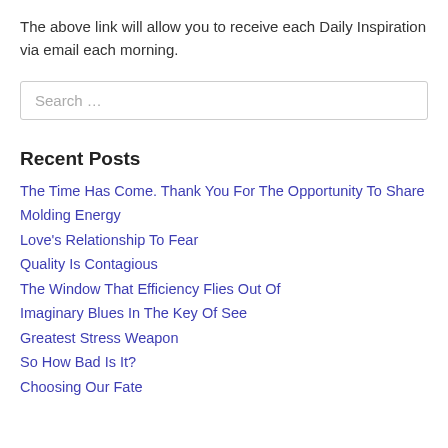The above link will allow you to receive each Daily Inspiration via email each morning.
Search …
Recent Posts
The Time Has Come. Thank You For The Opportunity To Share
Molding Energy
Love's Relationship To Fear
Quality Is Contagious
The Window That Efficiency Flies Out Of
Imaginary Blues In The Key Of See
Greatest Stress Weapon
So How Bad Is It?
Choosing Our Fate